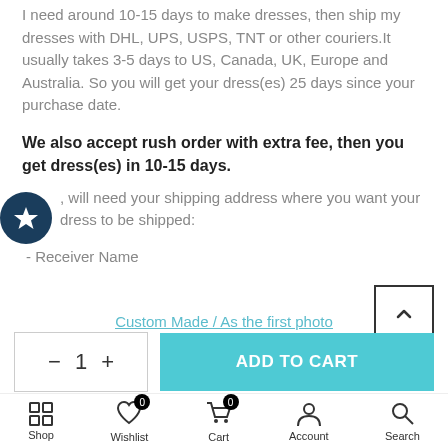I need around 10-15 days to make dresses, then ship my dresses with DHL, UPS, USPS, TNT or other couriers.It usually takes 3-5 days to US, Canada, UK, Europe and Australia. So you will get your dress(es) 25 days since your purchase date.
We also accept rush order with extra fee, then you get dress(es) in 10-15 days.
, will need your shipping address where you want your dress to be shipped:
- Receiver Name
Custom Made / As the first photo
ADD TO CART
Shop  Wishlist  Cart  Account  Search